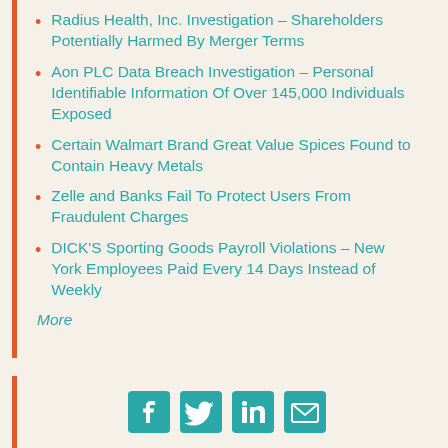Radius Health, Inc. Investigation – Shareholders Potentially Harmed By Merger Terms
Aon PLC Data Breach Investigation – Personal Identifiable Information Of Over 145,000 Individuals Exposed
Certain Walmart Brand Great Value Spices Found to Contain Heavy Metals
Zelle and Banks Fail To Protect Users From Fraudulent Charges
DICK'S Sporting Goods Payroll Violations – New York Employees Paid Every 14 Days Instead of Weekly
More
[Figure (other): Social media icons: Facebook, Twitter, LinkedIn, Email]